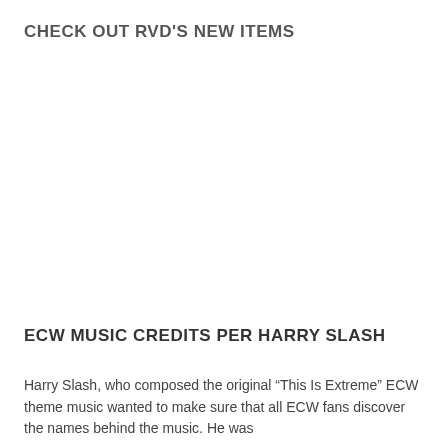CHECK OUT RVD'S NEW ITEMS
[Figure (other): Image area for RVD's new items (blank/placeholder in original)]
ECW MUSIC CREDITS PER HARRY SLASH
Harry Slash, who composed the original “This Is Extreme” ECW theme music wanted to make sure that all ECW fans discover the names behind the music. He was